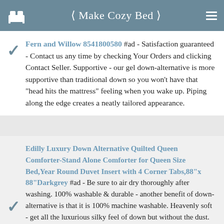< Make Cozy Bed >
Fern and Willow 8541800580 #ad - Satisfaction guaranteed - Contact us any time by checking Your Orders and clicking Contact Seller. Supportive - our gel down-alternative is more supportive than traditional down so you won't have that "head hits the mattress" feeling when you wake up. Piping along the edge creates a neatly tailored appearance.
Edilly Luxury Down Alternative Quilted Queen Comforter-Stand Alone Comforter for Queen Size Bed,Year Round Duvet Insert with 4 Corner Tabs,88"x 88"Darkgrey #ad - Be sure to air dry thoroughly after washing. 100% washable & durable - another benefit of down-alternative is that it is 100% machine washable. Heavenly soft - get all the luxurious silky feel of down but without the dust. Unlike traditional down pillows, our pillows are: Machine Washable, allergen-free and